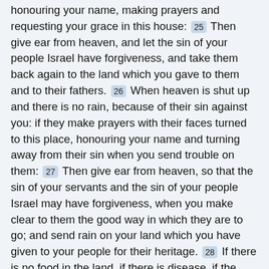honouring your name, making prayers and requesting your grace in this house: 25 Then give ear from heaven, and let the sin of your people Israel have forgiveness, and take them back again to the land which you gave to them and to their fathers. 26 When heaven is shut up and there is no rain, because of their sin against you: if they make prayers with their faces turned to this place, honouring your name and turning away from their sin when you send trouble on them: 27 Then give ear from heaven, so that the sin of your servants and the sin of your people Israel may have forgiveness, when you make clear to them the good way in which they are to go; and send rain on your land which you have given to your people for their heritage. 28 If there is no food in the land, if there is disease, if the fruits of the earth are damaged by heat or water, locust or worm; if their towns are shut in by their attackers: whatever trouble or whatever disease there may be: 29 Whatever prayer or request for your grace is made by any man, or by all your people Israel, whatever his trouble may be, whose hands are stretched out to this house: 30 Then give